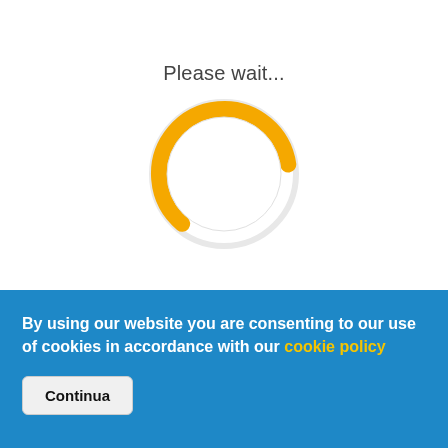[Figure (infographic): Loading spinner: a large circle outline partially filled with an orange/yellow arc (roughly the bottom-right 40%), with white interior, indicating a 'please wait' loading state.]
Please wait...
By using our website you are consenting to our use of cookies in accordance with our cookie policy
Continua